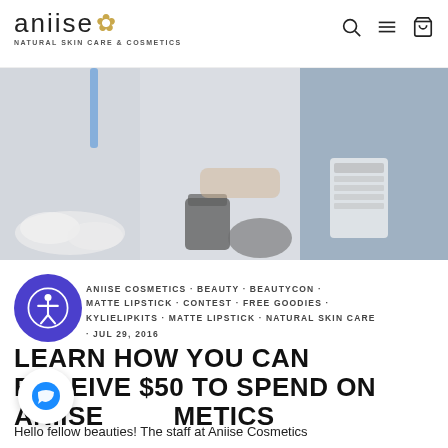aniise NATURAL SKIN CARE & COSMETICS
[Figure (photo): Photo of people at a cosmetics/beauty event, handling products at a table]
ANIISE COSMETICS · BEAUTY · BEAUTYCON · MATTE LIPSTICK · CONTEST · FREE GOODIES · KYLIELIPKITS · MATTE LIPSTICK · NATURAL SKIN CARE · JUL 29, 2016
LEARN HOW YOU CAN RECEIVE $50 TO SPEND ON ANIISE COSMETICS
Hello fellow beauties! The staff at Aniise Cosmetics